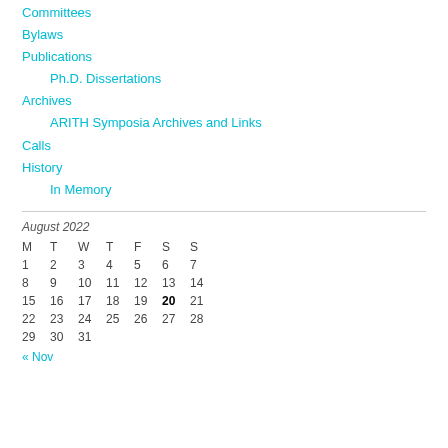Committees
Bylaws
Publications
Ph.D. Dissertations
Archives
ARITH Symposia Archives and Links
Calls
History
In Memory
| M | T | W | T | F | S | S |
| --- | --- | --- | --- | --- | --- | --- |
| 1 | 2 | 3 | 4 | 5 | 6 | 7 |
| 8 | 9 | 10 | 11 | 12 | 13 | 14 |
| 15 | 16 | 17 | 18 | 19 | 20 | 21 |
| 22 | 23 | 24 | 25 | 26 | 27 | 28 |
| 29 | 30 | 31 |  |  |  |  |
« Nov